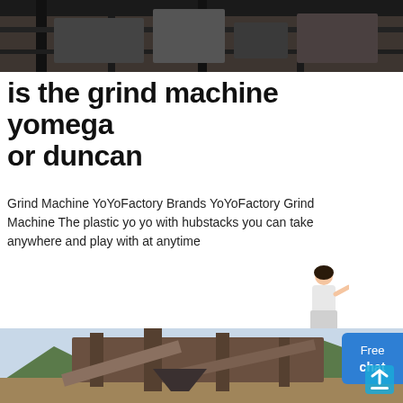[Figure (photo): Top portion of an indoor industrial machine, dark metal machinery visible against a ceiling structure]
is the grind machine yomega or duncan
Grind Machine YoYoFactory Brands YoYoFactory Grind Machine The plastic yo yo with hubstacks you can take anywhere and play with at anytime
[Figure (photo): Person (woman in white blouse) standing and pointing, appearing as a chat assistant character]
[Figure (photo): Large outdoor industrial crushing/grind machine facility with conveyor belts, set against a mountainous background]
[Figure (infographic): Free chat button UI element, blue rounded rectangle with 'Free chat' text]
[Figure (infographic): Upload/share icon arrow pointing upward from a tray]